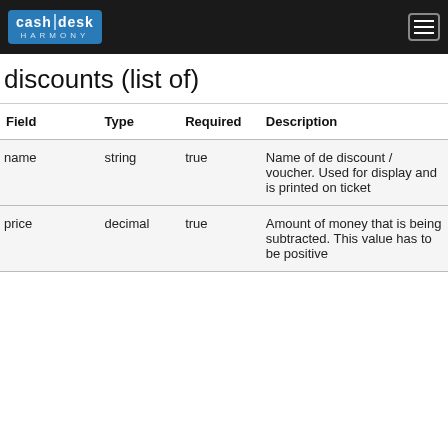cashdesk HARMONY
discounts (list of)
| Field | Type | Required | Description |
| --- | --- | --- | --- |
| name | string | true | Name of de discount / voucher. Used for display and is printed on ticket |
| price | decimal | true | Amount of money that is being subtracted. This value has to be positive |